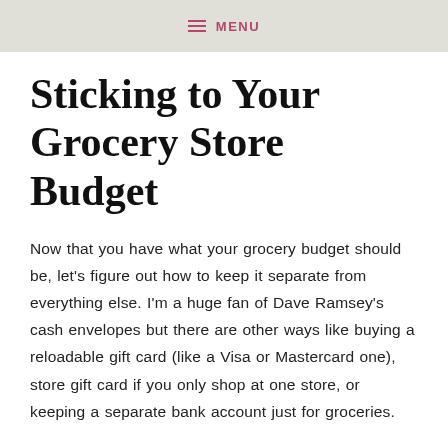≡ MENU
Sticking to Your Grocery Store Budget
Now that you have what your grocery budget should be, let's figure out how to keep it separate from everything else. I'm a huge fan of Dave Ramsey's cash envelopes but there are other ways like buying a reloadable gift card (like a Visa or Mastercard one), store gift card if you only shop at one store, or keeping a separate bank account just for groceries.
Decide which you're going to use: